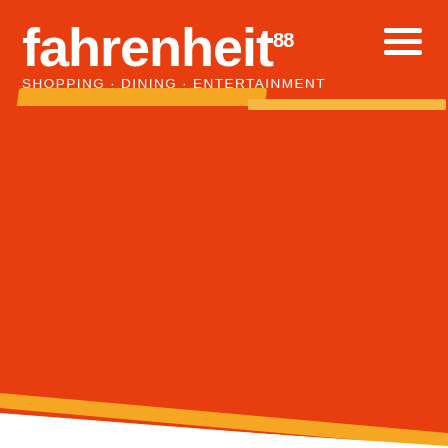[Figure (logo): Fahrenheit 88 shopping mall logo on orange-red background. Bold white lowercase text 'fahrenheit' with superscript '88', tagline 'SHOPPING · DINING · ENTERTAINMENT' below, hamburger menu icon top right, decorative orange/yellow diagonal bands and bottom diagonal white shape.]